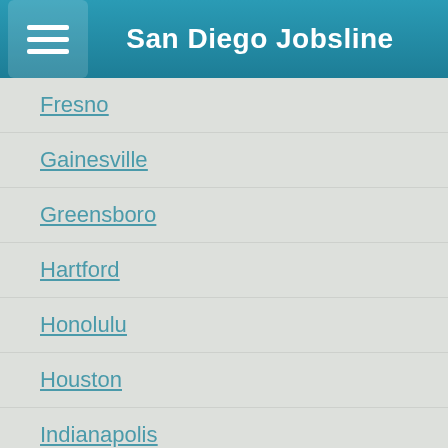San Diego Jobsline
Fresno
Gainesville
Greensboro
Hartford
Honolulu
Houston
Indianapolis
Jacksonville
Kansas City
Key West